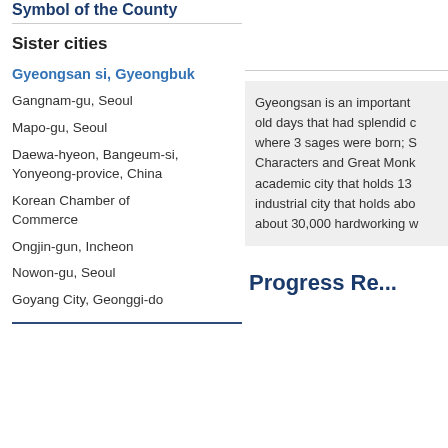Symbol of the County
Sister cities
Gyeongsan si, Gyeongbuk
Gangnam-gu, Seoul
Mapo-gu, Seoul
Daewa-hyeon, Bangeum-si, Yonyeong-provice, China
Korean Chamber of Commerce
Ongjin-gun, Incheon
Nowon-gu, Seoul
Goyang City, Geonggi-do
Gyeongsan is an important... old days that had splendid c... where 3 sages were born; S... Characters and Great Monk... academic city that holds 13... industrial city that holds abo... about 30,000 hardworking w...
Progress Re...